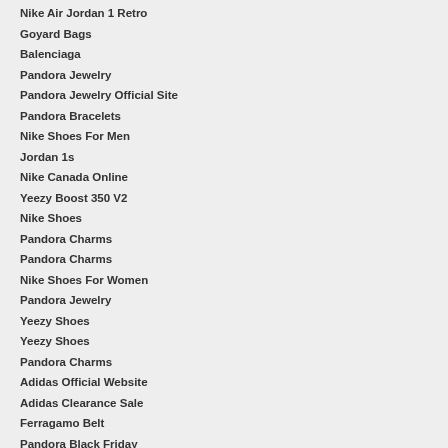Nike Air Jordan 1 Retro
Goyard Bags
Balenciaga
Pandora Jewelry
Pandora Jewelry Official Site
Pandora Bracelets
Nike Shoes For Men
Jordan 1s
Nike Canada Online
Yeezy Boost 350 V2
Nike Shoes
Pandora Charms
Pandora Charms
Nike Shoes For Women
Pandora Jewelry
Yeezy Shoes
Yeezy Shoes
Pandora Charms
Adidas Official Website
Adidas Clearance Sale
Ferragamo Belt
Pandora Black Friday